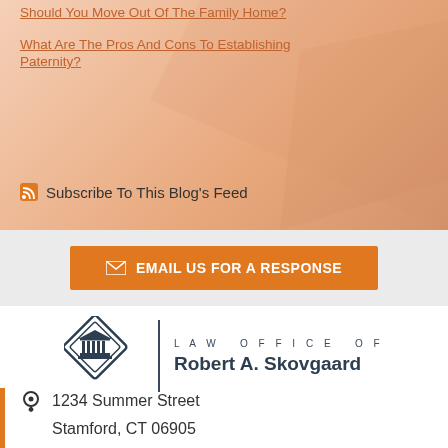Should You Move Out Of The Family Home?
What Are The Pros And Cons To Establishing Paternity?
Subscribe To This Blog's Feed
EMAIL US FOR A RESPONSE
[Figure (logo): Law Office of Robert A. Skovgaard logo with diamond-shaped courthouse icon]
1234 Summer Street
Stamford, CT 06905